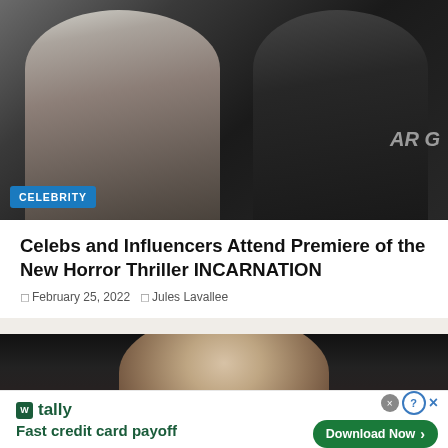[Figure (photo): Two celebrities posing at a premiere event against a dark backdrop with 'ARG' text visible. Woman in silver/metallic outfit on left, man in dark jacket on right.]
CELEBRITY
Celebs and Influencers Attend Premiere of the New Horror Thriller INCARNATION
February 25, 2022   Jules Lavallee
[Figure (photo): Close-up of a blonde woman's face against a dark background.]
infolinks
[Figure (screenshot): Advertisement for Tally app: 'Fast credit card payoff' with 'Download Now' button. Green branding.]